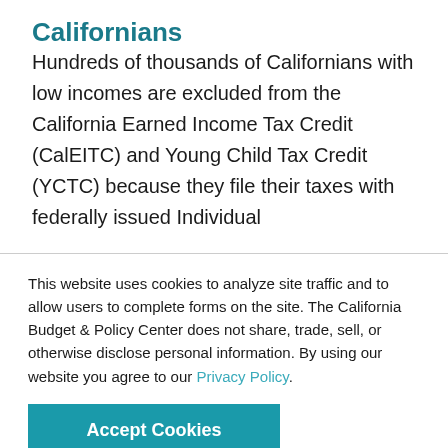Californians
Hundreds of thousands of Californians with low incomes are excluded from the California Earned Income Tax Credit (CalEITC) and Young Child Tax Credit (YCTC) because they file their taxes with federally issued Individual
This website uses cookies to analyze site traffic and to allow users to complete forms on the site. The California Budget & Policy Center does not share, trade, sell, or otherwise disclose personal information. By using our website you agree to our Privacy Policy.
Accept Cookies